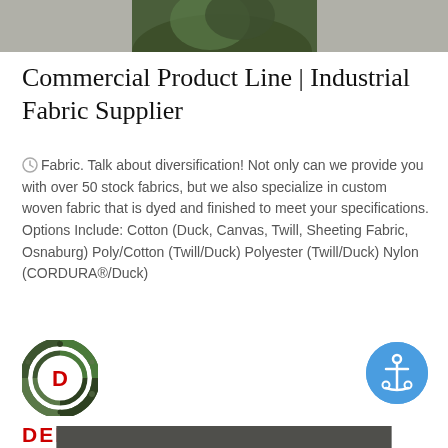[Figure (photo): Partial image of military/tactical gear in olive green/camouflage colors at top of page]
Commercial Product Line | Industrial Fabric Supplier
Fabric. Talk about diversification! Not only can we provide you with over 50 stock fabrics, but we also specialize in custom woven fabric that is dyed and finished to meet your specifications. Options Include: Cotton (Duck, Canvas, Twill, Sheeting Fabric, Osnaburg) Poly/Cotton (Twill/Duck) Polyester (Twill/Duck) Nylon (CORDURA®/Duck)
[Figure (logo): DEEKON logo - circular camouflage pattern with red letter D in center, with DEEKON text in red below]
[Figure (other): Blue circular button with white anchor icon]
[Figure (photo): Partial image of dark fabric/material at bottom of page]